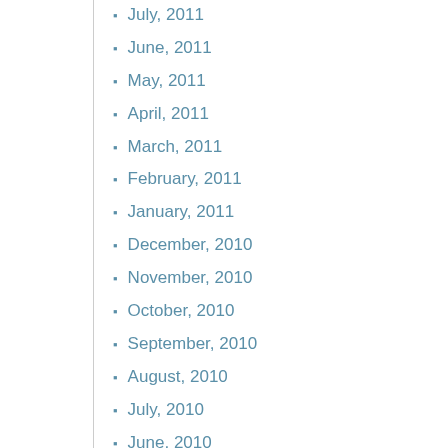July, 2011
June, 2011
May, 2011
April, 2011
March, 2011
February, 2011
January, 2011
December, 2010
November, 2010
October, 2010
September, 2010
August, 2010
July, 2010
June, 2010
May, 2010
April, 2010
March, 2010
February, 2010
January, 2010
December, 2009
November, 2009
October, 2009
September, 2009